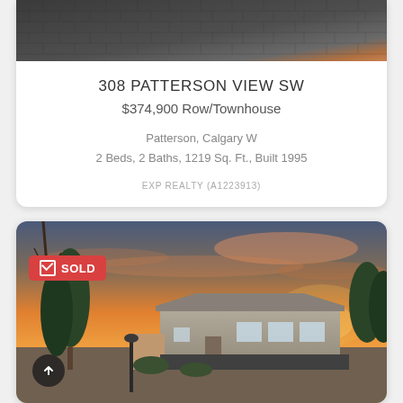[Figure (photo): Top portion of a townhouse/row house roofline with dark shingles and a hint of orange/brick at the edge]
308 PATTERSON VIEW SW
$374,900 Row/Townhouse
Patterson, Calgary W
2 Beds, 2 Baths, 1219 Sq. Ft., Built 1995
EXP REALTY (A1223913)
[Figure (photo): Exterior photo of a bungalow-style house at sunset with dramatic orange sky, trees, and a SOLD badge in the upper left corner]